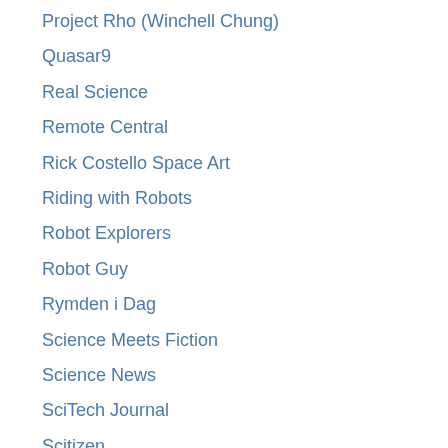Project Rho (Winchell Chung)
Quasar9
Real Science
Remote Central
Rick Costello Space Art
Riding with Robots
Robot Explorers
Robot Guy
Rymden i Dag
Science Meets Fiction
Science News
SciTech Journal
Scitizen
Simostronomy
Singularity Institute